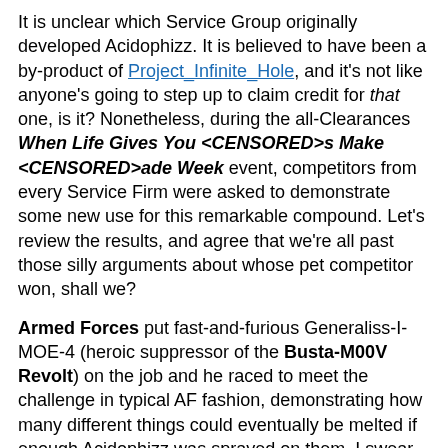It is unclear which Service Group originally developed Acidophizz. It is believed to have been a by-product of Project_Infinite_Hole, and it's not like anyone's going to step up to claim credit for that one, is it? Nonetheless, during the all-Clearances When Life Gives You <CENSORED>s Make <CENSORED>ade Week event, competitors from every Service Firm were asked to demonstrate some new use for this remarkable compound. Let's review the results, and agree that we're all past those silly arguments about whose pet competitor won, shall we?
Armed Forces put fast-and-furious Generaliss-I-MOE-4 (heroic suppressor of the Busta-M00V Revolt) on the job and he raced to meet the challenge in typical AF fashion, demonstrating how many different things could eventually be melted if enough Acidophizz was sprayed on them. I swear, they'd weaponize toenail clippings if they could.
Central Processing Unit's whiz-kid genius, Hack-Y-SAK-1, demonstrated his typical flair for parallelism when he showed that milligram quantities of Acidophizz on copper oxide plates could etch microcircuit traces that were 28% cleaner than earlier processes, while microgram quantities placed under the tongue produced